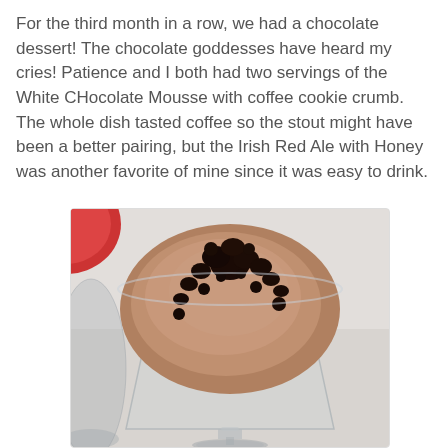For the third month in a row, we had a chocolate dessert! The chocolate goddesses have heard my cries! Patience and I both had two servings of the White CHocolate Mousse with coffee cookie crumb. The whole dish tasted coffee so the stout might have been a better pairing, but the Irish Red Ale with Honey was another favorite of mine since it was easy to drink.
[Figure (photo): A martini glass filled with chocolate/coffee mousse topped with dark coffee cookie crumbs, photographed from above on a light gray table surface. A red plate is partially visible in the top-left corner, and another glass is partially visible on the left side.]